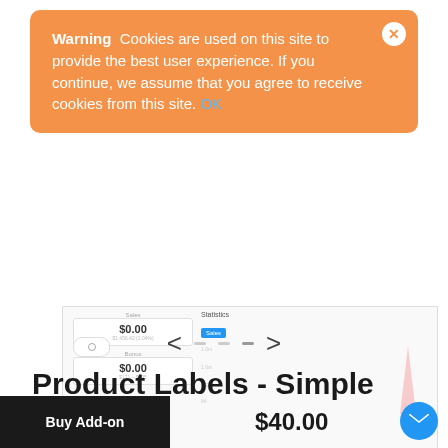Warning  Cookies are used on this site to provide the best user experience. If you continue, we assume that you agree to receive cookies from this site. OK
[Figure (screenshot): Screenshot of a web dashboard showing sales statistics with $0.00 values and a small pink bar chart]
[Figure (other): Navigation arrows with pagination dots: < ... >]
Product Labels - Simple
Buy Add-on
$40.00